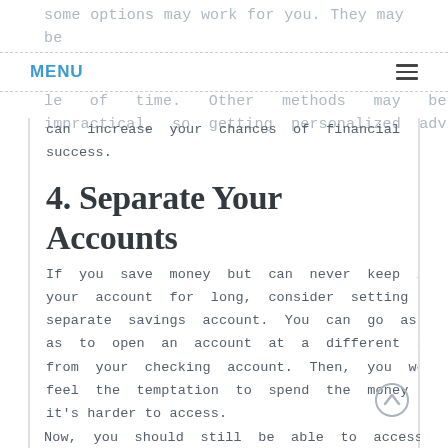some options may work for you. They may be
MENU  le  of  time.  Other  methods  may  be  impractical,  so  getting  personalized  advice
can  increase  your  chances  of  financial success.
4. Separate Your Accounts
If  you  save  money  but  can  never  keep  it  in your  account  for  long,  consider  setting  up  a separate  savings  account.  You  can  go  as  far as  to  open  an  account  at  a  different  bank from  your  checking  account.  Then,  you  won't feel  the  temptation  to  spend  the  money  since it's harder to access.
Now, you should still be able to access it